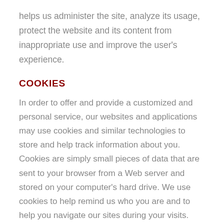helps us administer the site, analyze its usage, protect the website and its content from inappropriate use and improve the user's experience.
COOKIES
In order to offer and provide a customized and personal service, our websites and applications may use cookies and similar technologies to store and help track information about you. Cookies are simply small pieces of data that are sent to your browser from a Web server and stored on your computer's hard drive. We use cookies to help remind us who you are and to help you navigate our sites during your visits. Cookies also can tell us